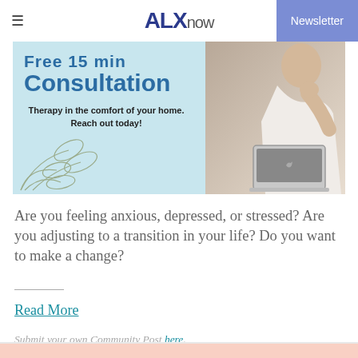ALXnow | Newsletter
[Figure (photo): Advertisement banner for therapy consultation service. Light blue background with text 'Free 15 min Consultation' and 'Therapy in the comfort of your home. Reach out today!' alongside an image of a woman sitting with a laptop.]
Are you feeling anxious, depressed, or stressed? Are you adjusting to a transition in your life? Do you want to make a change?
Read More
Submit your own Community Post here.